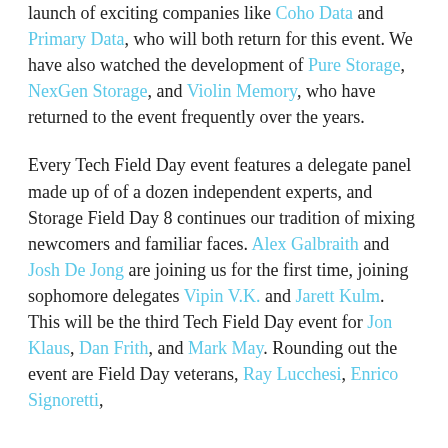launch of exciting companies like Coho Data and Primary Data, who will both return for this event. We have also watched the development of Pure Storage, NexGen Storage, and Violin Memory, who have returned to the event frequently over the years.
Every Tech Field Day event features a delegate panel made up of of a dozen independent experts, and Storage Field Day 8 continues our tradition of mixing newcomers and familiar faces. Alex Galbraith and Josh De Jong are joining us for the first time, joining sophomore delegates Vipin V.K. and Jarett Kulm. This will be the third Tech Field Day event for Jon Klaus, Dan Frith, and Mark May. Rounding out the event are Field Day veterans, Ray Lucchesi, Enrico Signoretti,